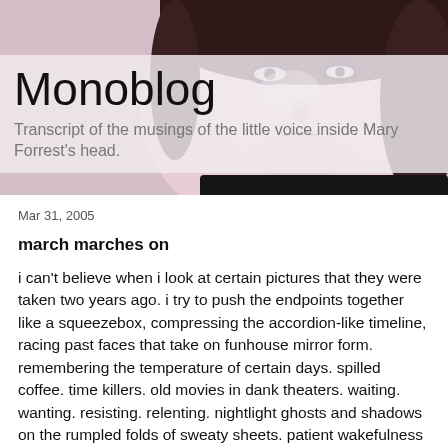[Figure (photo): Close-up photo of a young woman with brown hair and dark eye makeup, used as a blog header background image]
Monoblog
Transcript of the musings of the little voice inside Mary Forrest's head.
Mar 31, 2005
march marches on
i can't believe when i look at certain pictures that they were taken two years ago. i try to push the endpoints together like a squeezebox, compressing the accordion-like timeline, racing past faces that take on funhouse mirror form. remembering the temperature of certain days. spilled coffee. time killers. old movies in dank theaters. waiting. wanting. resisting. relenting. nightlight ghosts and shadows on the rumpled folds of sweaty sheets. patient wakefulness in an effort to stop time. like when maybe i used to believe that if you stayed awake all the way through, dawn would never